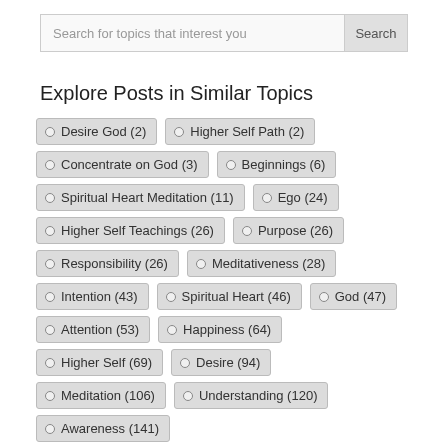Search for topics that interest you
Explore Posts in Similar Topics
Desire God (2)
Higher Self Path (2)
Concentrate on God (3)
Beginnings (6)
Spiritual Heart Meditation (11)
Ego (24)
Higher Self Teachings (26)
Purpose (26)
Responsibility (26)
Meditativeness (28)
Intention (43)
Spiritual Heart (46)
God (47)
Attention (53)
Happiness (64)
Higher Self (69)
Desire (94)
Meditation (106)
Understanding (120)
Awareness (141)